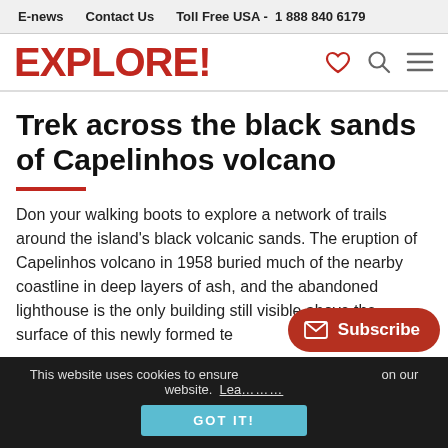E-news   Contact Us   Toll Free USA -  1 888 840 6179
EXPLORE!
Trek across the black sands of Capelinhos volcano
Don your walking boots to explore a network of trails around the island's black volcanic sands. The eruption of Capelinhos volcano in 1958 buried much of the nearby coastline in deep layers of ash, and the abandoned lighthouse is the only building still visible above the surface of this newly formed te…
This website uses cookies to ensure… on our website. Learn more
GOT IT!